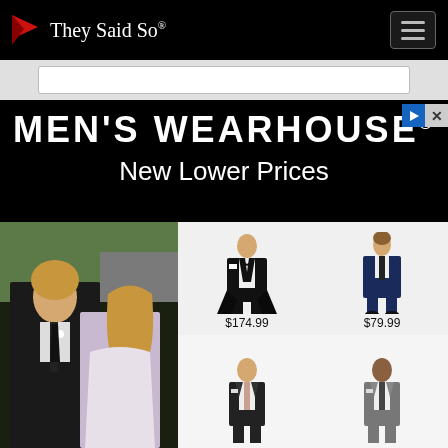They Said So®
[Figure (screenshot): Men's Wearhouse advertisement banner with new lower prices, showing couple in wedding attire on left, and product images: tuxedo $174.99, boy's suit $79.99, two additional suits]
$174.99
$79.99